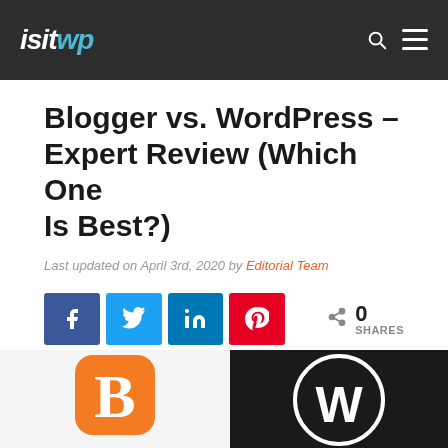isitwp
Blogger vs. WordPress – Expert Review (Which One Is Best?)
Last updated on April 3rd, 2020 by Editorial Team
[Figure (infographic): Social share buttons: Facebook (f), Twitter (bird), LinkedIn (in), Pinterest (p), and a share count showing 0 SHARES]
[Figure (illustration): Bottom portion showing Blogger orange logo icon on left white background and WordPress white W logo on right dark background]